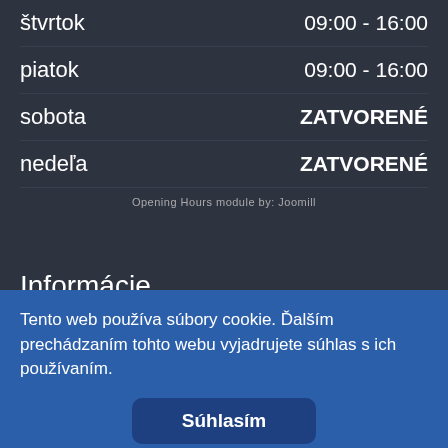štvrtok    09:00 - 16:00
piatok    09:00 - 16:00
sobota    ZATVORENÉ
nedeľa    ZATVORENÉ
Opening Hours module by: Joomill
Informácie
Ochrana osobných údajov
Kontakt na nás
Tento web používa súbory cookie. Ďalším prechádzaním tohto webu vyjadrujete súhlas s ich používaním.
Súhlasím